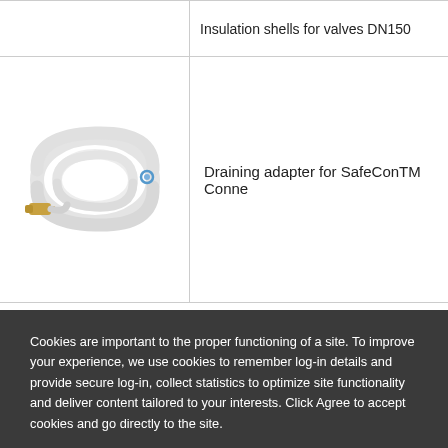| Image | Description |
| --- | --- |
| [image] | Insulation shells for valves DN150 |
| [product image: draining hose with connector] | Draining adapter for SafeConTM Conne... |
Spare Parts
Cookies are important to the proper functioning of a site. To improve your experience, we use cookies to remember log-in details and provide secure log-in, collect statistics to optimize site functionality and deliver content tailored to your interests. Click Agree to accept cookies and go directly to the site.
AGREE